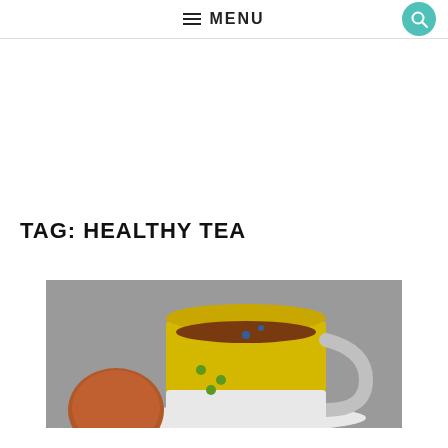MENU
TAG: HEALTHY TEA
[Figure (photo): A yellow mug with blue flower decorations filled with tea, sitting on a white saucer, with a brown object (possibly an onion or egg) beside it on a gray surface.]